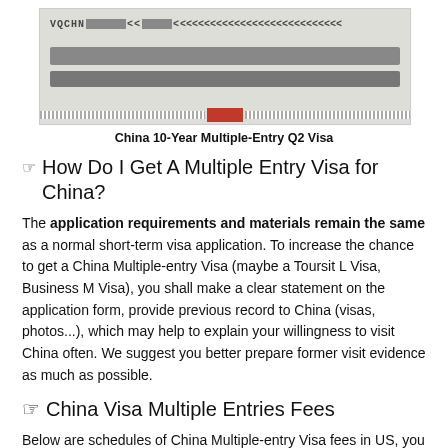[Figure (photo): China 10-Year Multiple-Entry Q2 Visa specimen image showing machine-readable zone with VQCHN prefix and redacted personal data, with decorative striped bottom border and red block]
China 10-Year Multiple-Entry Q2 Visa
How Do I Get A Multiple Entry Visa for China?
The application requirements and materials remain the same as a normal short-term visa application. To increase the chance to get a China Multiple-entry Visa (maybe a Toursit L Visa, Business M Visa), you shall make a clear statement on the application form, provide previous record to China (visas, photos...), which may help to explain your willingness to visit China often. We suggest you better prepare former visit evidence as much as possible.
China Visa Multiple Entries Fees
Below are schedules of China Multiple-entry Visa fees in US, you can check on the offcial website of Chinese Embassy in your country or guide page on